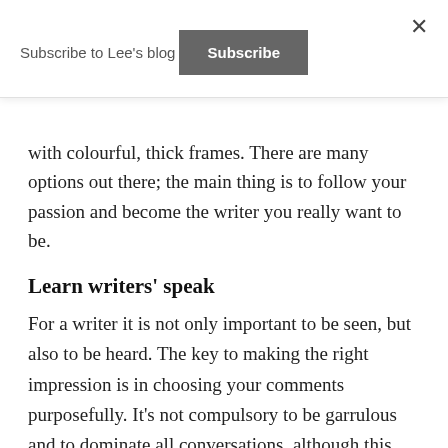Subscribe to Lee's blog
Subscribe
with colourful, thick frames. There are many options out there; the main thing is to follow your passion and become the writer you really want to be.
Learn writers' speak
For a writer it is not only important to be seen, but also to be heard. The key to making the right impression is in choosing your comments purposefully. It's not compulsory to be garrulous and to dominate all conversations, although this